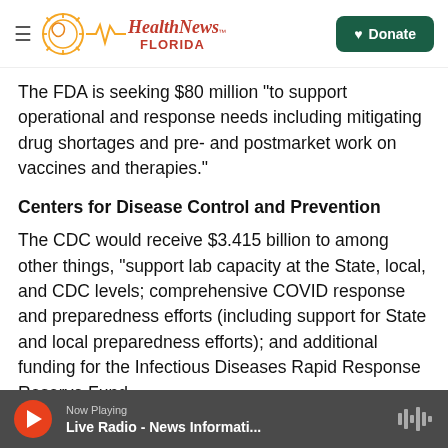Health News Florida — Donate
The FDA is seeking $80 million "to support operational and response needs including mitigating drug shortages and pre- and postmarket work on vaccines and therapies."
Centers for Disease Control and Prevention
The CDC would receive $3.415 billion to among other things, "support lab capacity at the State, local, and CDC levels; comprehensive COVID response and preparedness efforts (including support for State and local preparedness efforts); and additional funding for the Infectious Diseases Rapid Response Reserve Fund...
Now Playing — Live Radio - News Informati...